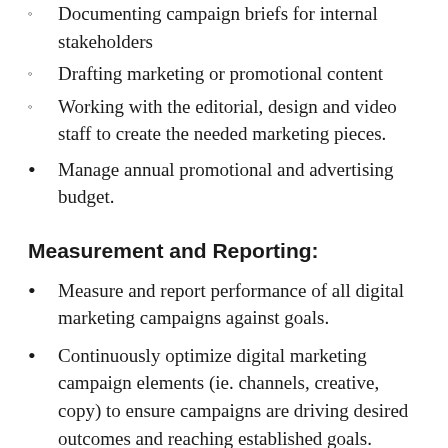Documenting campaign briefs for internal stakeholders
Drafting marketing or promotional content
Working with the editorial, design and video staff to create the needed marketing pieces.
Manage annual promotional and advertising budget.
Measurement and Reporting:
Measure and report performance of all digital marketing campaigns against goals.
Continuously optimize digital marketing campaign elements (ie. channels, creative, copy) to ensure campaigns are driving desired outcomes and reaching established goals.
Drive conversion optimization through A/B